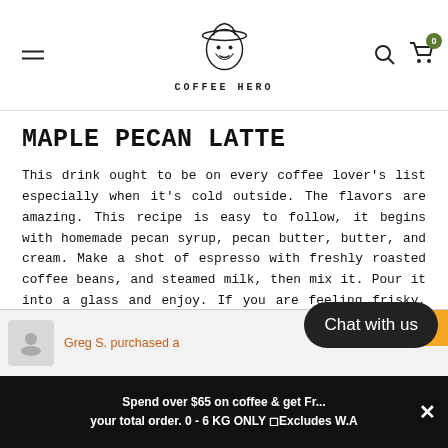COFFEE HERO
MAPLE PECAN LATTE
This drink ought to be on every coffee lover's list especially when it's cold outside. The flavors are amazing. This recipe is easy to follow, it begins with homemade pecan syrup, pecan butter, butter, and cream. Make a shot of espresso with freshly roasted coffee beans, and steamed milk, then mix it. Pour it into a glass and enjoy. If you are feeling frisky, you can add a shot of whiskey.
IRISH COFFEE
This is one recipe you taste and you'll inst...
Greg S. purchased a
Chat with us
Spend over $65 on coffee & get FR... your total order. 0 - 6 KG ONLY ⬡Excludes W.A